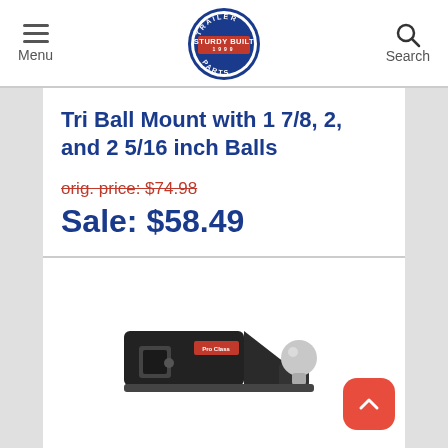Menu | Sturdy Built Trailer Parts | Search
Tri Ball Mount with 1 7/8, 2, and 2 5/16 inch Balls
orig. price: $74.98
Sale: $58.49
[Figure (photo): Product photo of a Tri Ball Mount hitch receiver, black steel mount with chrome ball, on white background]